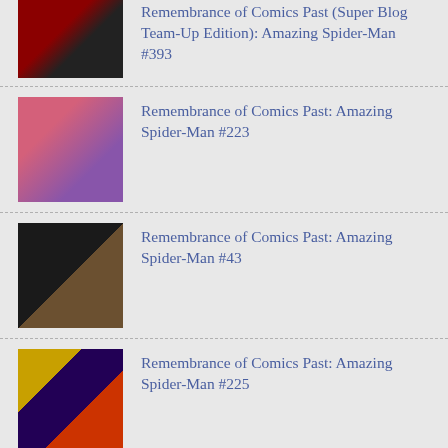Remembrance of Comics Past (Super Blog Team-Up Edition): Amazing Spider-Man #393
Remembrance of Comics Past: Amazing Spider-Man #223
Remembrance of Comics Past: Amazing Spider-Man #43
Remembrance of Comics Past: Amazing Spider-Man #225
[Figure (illustration): Superior Spider-Talk banner/logo with Spider-Man tearing open shirt to reveal costume]